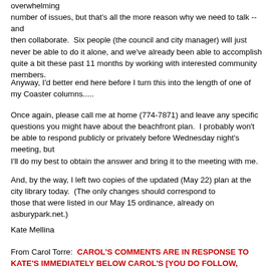overwhelming
number of issues, but that's all the more reason why we need to talk -- and
then collaborate.  Six people (the council and city manager) will just never be able to do it alone, and we've already been able to accomplish quite a bit these past 11 months by working with interested community members.
Anyway, I'd better end here before I turn this into the length of one of my Coaster columns.....
Once again, please call me at home (774-7871) and leave any specific questions you might have about the beachfront plan.  I probably won't be able to respond publicly or privately before Wednesday night's meeting, but
I'll do my best to obtain the answer and bring it to the meeting with me.
And, by the way, I left two copies of the updated (May 22) plan at the city library today.  (The only changes should correspond to
those that were listed in our May 15 ordinance, already on asburypark.net.)
Kate Mellina
From Carol Torre:  CAROL'S COMMENTS ARE IN RESPONSE TO KATE'S IMMEDIATELY BELOW CAROL'S [YOU DO FOLLOW, RIGHT?]